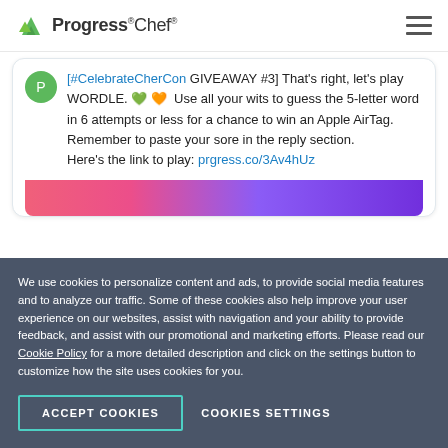Progress Chef
[#CelebrateCherCon GIVEAWAY #3] That's right, let's play WORDLE. 💚 🧡 Use all your wits to guess the 5-letter word in 6 attempts or less for a chance to win an Apple AirTag. Remember to paste your sore in the reply section.
Here's the link to play: prgress.co/3Av4hUz
[Figure (illustration): Colorful gradient image strip at the bottom of tweet card with pink to purple gradient]
We use cookies to personalize content and ads, to provide social media features and to analyze our traffic. Some of these cookies also help improve your user experience on our websites, assist with navigation and your ability to provide feedback, and assist with our promotional and marketing efforts. Please read our Cookie Policy for a more detailed description and click on the settings button to customize how the site uses cookies for you.
ACCEPT COOKIES
COOKIES SETTINGS